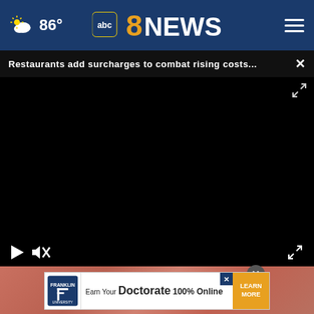86° abc8NEWS
Restaurants add surcharges to combat rising costs...
[Figure (screenshot): Black video player with play button, mute button, and fullscreen icon on controls bar]
[Figure (photo): Close-up photo of hands or seafood with water droplets]
[Figure (screenshot): Advertisement banner: Franklin University - Earn Your Doctorate 100% Online - Learn More]